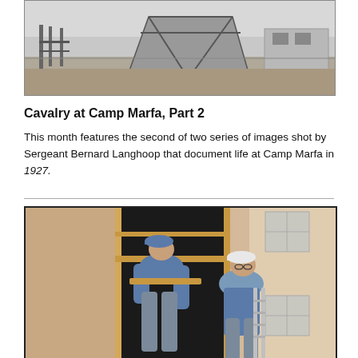[Figure (photo): Black and white historical photograph of a wooden structure or equipment at Camp Marfa, outdoors with flat terrain visible.]
Cavalry at Camp Marfa, Part 2
This month features the second of two series of images shot by Sergeant Bernard Langhoop that document life at Camp Marfa in 1927.
[Figure (photo): Color photograph of two workers in blue jackets and caps installing or working on a wooden window frame on a light-colored building, one on a ladder.]